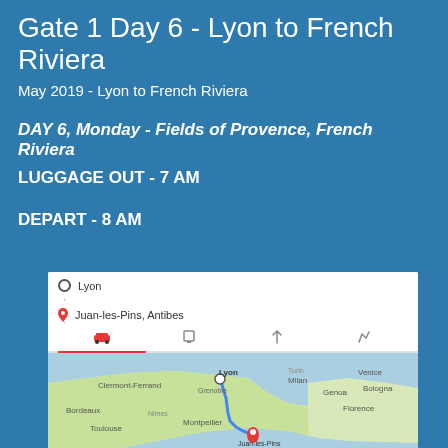Gate 1 Day 6 - Lyon to French Riviera
May 2019 - Lyon to French Riviera
DAY 6, Monday - Fields of Provence, French Riviera
LUGGAGE OUT - 7 AM
DEPART - 8 AM
[Figure (map): Google Maps route from Lyon to Juan-les-Pins, Antibes showing driving route via A7 and A8, 4h 29 min (456.9 km)]